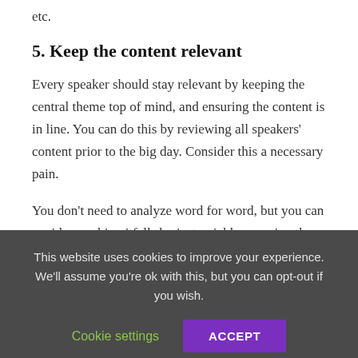etc.
5. Keep the content relevant
Every speaker should stay relevant by keeping the central theme top of mind, and ensuring the content is in line. You can do this by reviewing all speakers' content prior to the big day. Consider this a necessary pain.
You don't need to analyze word for word, but you can avoid some big pitfalls by just quickly scanning the slides.
This website uses cookies to improve your experience. We'll assume you're ok with this, but you can opt-out if you wish.
Cookie settings
ACCEPT